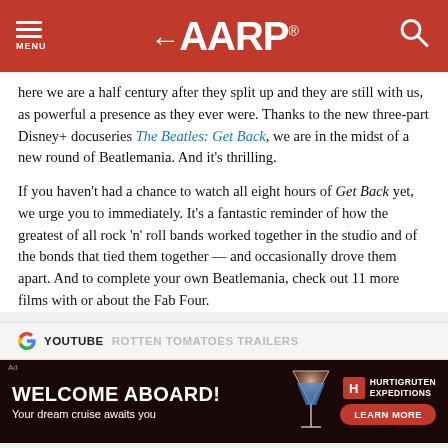AARP
here we are a half century after they split up and they are still with us, as powerful a presence as they ever were. Thanks to the new three-part Disney+ docuseries The Beatles: Get Back, we are in the midst of a new round of Beatlemania. And it's thrilling.
If you haven't had a chance to watch all eight hours of Get Back yet, we urge you to immediately. It's a fantastic reminder of how the greatest of all rock 'n' roll bands worked together in the studio and of the bonds that tied them together — and occasionally drove them apart. And to complete your own Beatlemania, check out 11 more films with or about the Fab Four.
YOUTUBE  ROTTEN TOMATOES TRAILERS
[Figure (other): Advertisement banner: Welcome Aboard! Your dream cruise awaits you — Hurtigruten Expeditions]